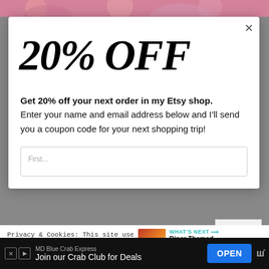[Figure (photo): Top banner with colorful background, partial faces/image visible]
20% OFF
Get 20% off your next order in my Etsy shop. Enter your name and email address below and I'll send you a coupon code for your next shopping trip!
First...
Privacy & Cookies: This site uses cookies. By continuing to use this website, you agree to their use. To find out more, including how to control cookies, s... Policy
[Figure (photo): What's Next thumbnail - Diner Themed Teacher...]
WHAT'S NEXT → Diner Themed Teacher...
Accept
MD Blue Crab Express Join our Crab Club for Deals